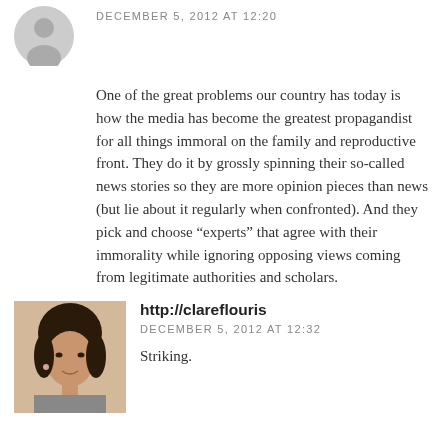DECEMBER 5, 2012 AT 12:20
One of the great problems our country has today is how the media has become the greatest propagandist for all things immoral on the family and reproductive front. They do it by grossly spinning their so-called news stories so they are more opinion pieces than news (but lie about it regularly when confronted). And they pick and choose “experts” that agree with their immorality while ignoring opposing views coming from legitimate authorities and scholars.
http://clareflouris
DECEMBER 5, 2012 AT 12:32
Striking.